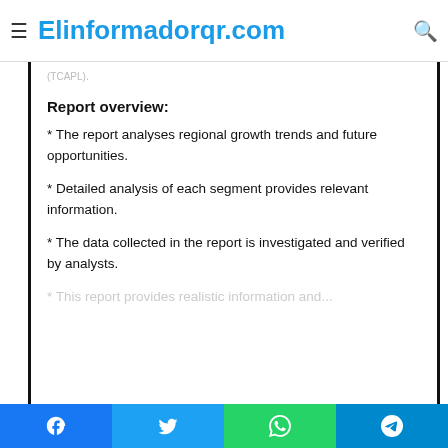Elinformadorqr.com
(TCAPL).
Report overview:
* The report analyses regional growth trends and future opportunities.
* Detailed analysis of each segment provides relevant information.
* The data collected in the report is investigated and verified by analysts.
* This report provides realistic information and...